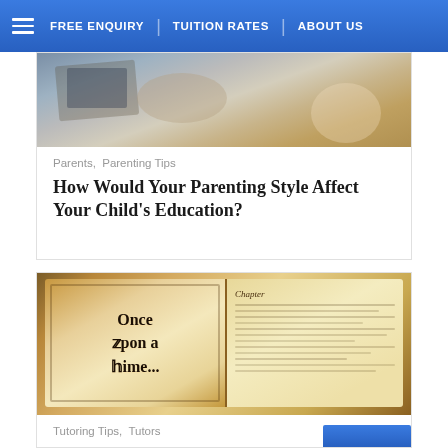FREE ENQUIRY  TUITION RATES  ABOUT US
[Figure (photo): Photo of people studying at a desk with laptops and papers]
Parents,  Parenting Tips
How Would Your Parenting Style Affect Your Child's Education?
[Figure (illustration): Illustration of an open antique book with 'Once Upon a Time...' written in old gothic lettering on the left page and handwritten text on the right page]
Tutoring Tips,  Tutors